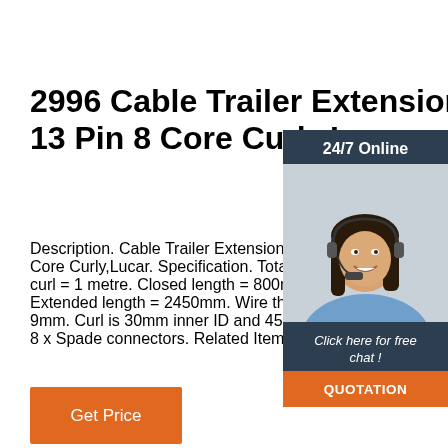2996 Cable Trailer Extension 13 Pin 8 Core Curly,Lucar.
Description. Cable Trailer Extension 13 Pin 8 Core Curly,Lucar. Specification. Total length of curl = 1 metre. Closed length = 800mm. Extended length = 2450mm. Wire thickness = 9mm. Curl is 30mm inner ID and 45mm ou... 8 x Spade connectors. Related Items.
[Figure (photo): Customer support representative woman with headset, next to 24/7 Online chat widget with orange QUOTATION button]
Get Price